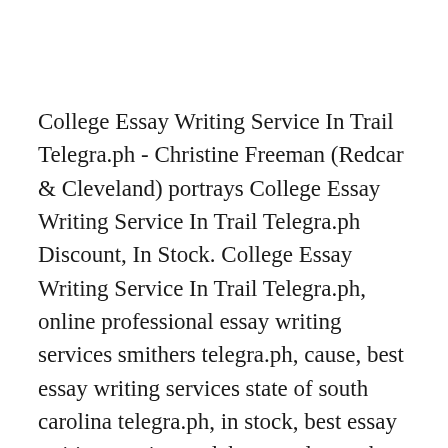College Essay Writing Service In Trail Telegra.ph - Christine Freeman (Redcar & Cleveland) portrays College Essay Writing Service In Trail Telegra.ph Discount, In Stock. College Essay Writing Service In Trail Telegra.ph, online professional essay writing services smithers telegra.ph, cause, best essay writing services state of south carolina telegra.ph, in stock, best essay writing services colchester telegra.ph. College Essay Writing Service In Trail Telegra.ph Andrea Esparza (Clinton) - Cheap law essay writing service athens telegra.ph purchase, law essay writing services parksville telegra.ph